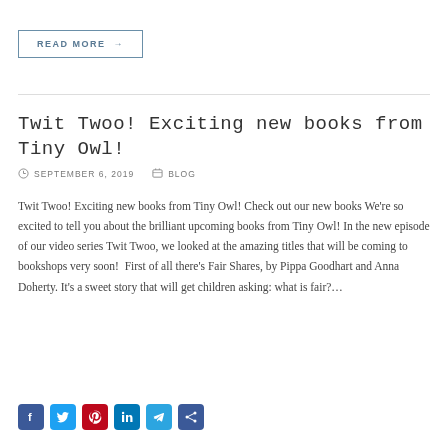READ MORE →
Twit Twoo! Exciting new books from Tiny Owl!
SEPTEMBER 6, 2019  BLOG
Twit Twoo! Exciting new books from Tiny Owl! Check out our new books We're so excited to tell you about the brilliant upcoming books from Tiny Owl! In the new episode of our video series Twit Twoo, we looked at the amazing titles that will be coming to bookshops very soon!  First of all there's Fair Shares, by Pippa Goodhart and Anna Doherty. It's a sweet story that will get children asking: what is fair?…
[Figure (other): Social media share icons: Facebook, Twitter, Pinterest, LinkedIn, Telegram, Share]